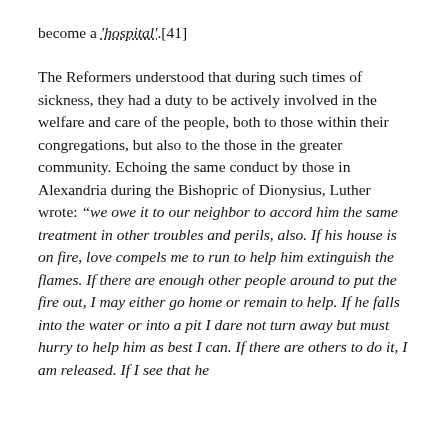become a 'hospital'.[41]
The Reformers understood that during such times of sickness, they had a duty to be actively involved in the welfare and care of the people, both to those within their congregations, but also to the those in the greater community. Echoing the same conduct by those in Alexandria during the Bishopric of Dionysius, Luther wrote: “we owe it to our neighbor to accord him the same treatment in other troubles and perils, also. If his house is on fire, love compels me to run to help him extinguish the flames. If there are enough other people around to put the fire out, I may either go home or remain to help. If he falls into the water or into a pit I dare not turn away but must hurry to help him as best I can. If there are others to do it, I am released. If I see that he